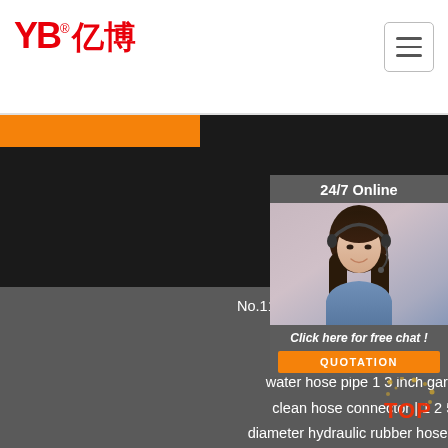[Figure (logo): YB Yi Bo company logo in red with Chinese characters]
[Figure (other): Hamburger menu button with three horizontal lines]
[Figure (photo): Customer service agent photo with headset, 24/7 Online panel]
No.11, Yangshan Road, Shaoling District, Luoyang Province, China
Sitemap | heavy duty 3 layered yellow water hose pipe 1 3 inch garden car wash clean hose connector | 1 2 5 8 5 16 1 1- diameter hydraulic rubber hose car hydraulic oil hose | an10 10an 90deg 90 elbow aluminum swivel jic fittings hose ends braided oil fuel hose line turbo engine